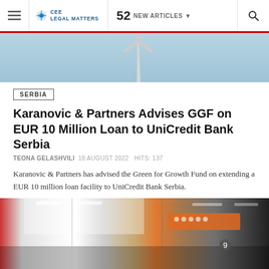CEE Legal Matters — 52 NEW ARTICLES
[Figure (photo): Partial hero image showing wind turbine against light blue sky]
SERBIA
Karanovic & Partners Advises GGF on EUR 10 Million Loan to UniCredit Bank Serbia
TEONA GELASHVILI  18 AUGUST 2022  HITS: 137
Karanovic & Partners has advised the Green for Growth Fund on extending a EUR 10 million loan facility to UniCredit Bank Serbia.
[Figure (photo): Interior of a shopping mall or bank branch showing white ceiling, orange store sign, and retail shops in background]